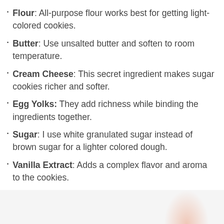Flour: All-purpose flour works best for getting light-colored cookies.
Butter: Use unsalted butter and soften to room temperature.
Cream Cheese: This secret ingredient makes sugar cookies richer and softer.
Egg Yolks: They add richness while binding the ingredients together.
Sugar: I use white granulated sugar instead of brown sugar for a lighter colored dough.
Vanilla Extract: Adds a complex flavor and aroma to the cookies.
[Figure (photo): Bottom section showing a light gray background with a peach/pink circular shape in the bottom right corner, likely a decorative image of a cookie or ingredient.]